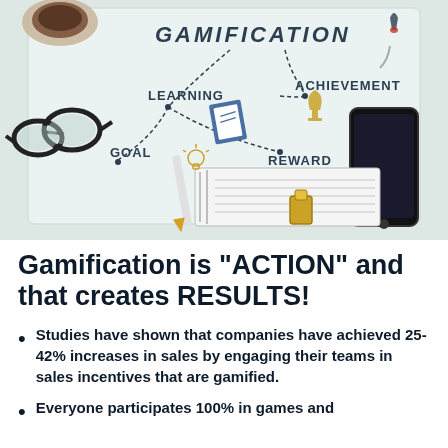[Figure (photo): Flat-lay photo showing a whiteboard/paper with gamification concept map (GAMIFICATION at top, connected by dashed lines to LEARNING, GOAL, REWARD, ACHIEVEMENT nodes with icons: notebook, lightbulb, trophy, rocket), surrounded by glasses, coffee cup, smartphone, pencils, notebook, binder clips on a light teal surface.]
Gamification is "ACTION" and that creates RESULTS!
Studies have shown that companies have achieved 25-42% increases in sales by engaging their teams in sales incentives that are gamified.
Everyone participates 100% in games and